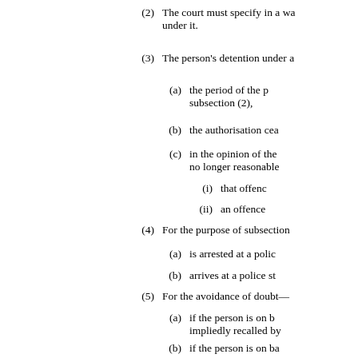(2) The court must specify in a wa... under it.
(3) The person's detention under a...
(a) the period of the p... subsection (2),
(b) the authorisation cea...
(c) in the opinion of the... no longer reasonable...
(i) that offenc...
(ii) an offence...
(4) For the purpose of subsection...
(a) is arrested at a polic...
(b) arrives at a police st...
(5) For the avoidance of doubt—
(a) if the person is on b... impliedly recalled by...
(b) if the person is on ba...
(i) despite be... 24(5)(b) of...
(ii) when the p...